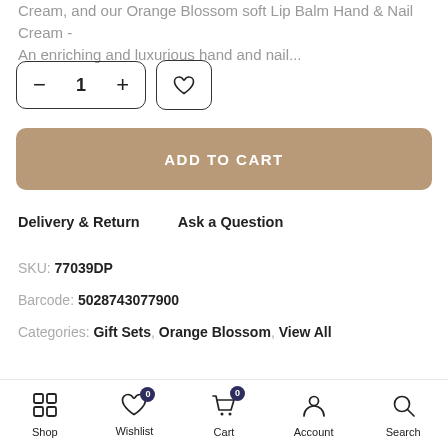Cream, and our Orange Blossom soft Lip Balm Hand & Nail Cream - An enriching and luxurious hand and nail...
- 1 + [wishlist heart button]
ADD TO CART
Delivery & Return    Ask a Question
SKU: 77039DP
Barcode: 5028743077900
Categories: Gift Sets, Orange Blossom, View All
GUARANTEED SAFE CHECKOUT
Shop  Wishlist (0)  Cart (0)  Account  Search